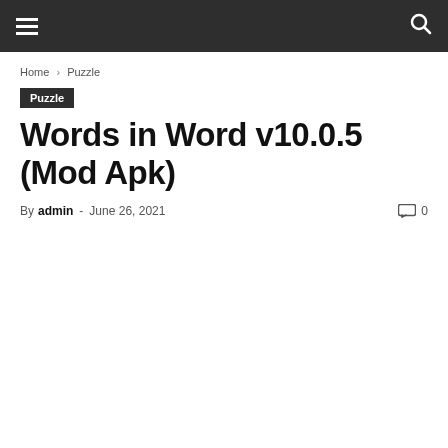≡  🔍
Home › Puzzle
Puzzle
Words in Word v10.0.5 (Mod Apk)
By admin - June 26, 2021  0